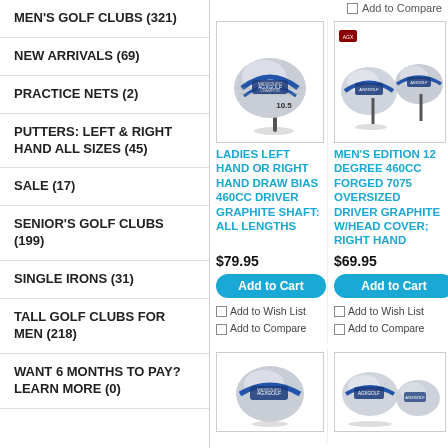MEN'S GOLF CLUBS (321)
NEW ARRIVALS (69)
PRACTICE NETS (2)
PUTTERS: LEFT & RIGHT HAND ALL SIZES (45)
SALE (17)
SENIOR'S GOLF CLUBS (199)
SINGLE IRONS (31)
TALL GOLF CLUBS for MEN (218)
WANT 6 MONTHS TO PAY? LEARN MORE (0)
[Figure (photo): AGXGOLF driver golf club head, silver/blue, angled view]
LADIES LEFT HAND OR RIGHT HAND DRAW BIAS 460cc DRIVER GRAPHITE SHAFT: ALL LENGTHS
$79.95
Add to Cart
Add to Wish List
Add to Compare
[Figure (photo): AGXGOLF oversized driver golf club heads, two views, silver/black]
MEN'S EDITION 12 DEGREE 460cc FORGED 7075 OVERSIZED DRIVER GRAPHITE w/HEAD COVER; RIGHT HAND
$69.95
Add to Cart
Add to Wish List
Add to Compare
[Figure (photo): AGXGOLF driver club head, partial, bottom row]
[Figure (photo): AGXGOLF driver club head, partial, bottom row right]